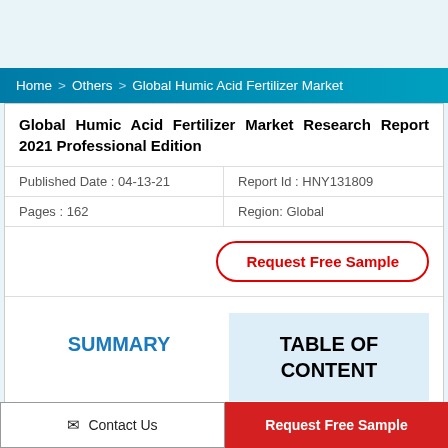Home > Others > Global Humic Acid Fertilizer Market
Global Humic Acid Fertilizer Market Research Report 2021 Professional Edition
| Published Date : 04-13-21 | Report Id : HNY131809 |
| Pages : 162 | Region: Global |
Request Free Sample
SUMMARY
TABLE OF CONTENT
Contact Us
Request Free Sample